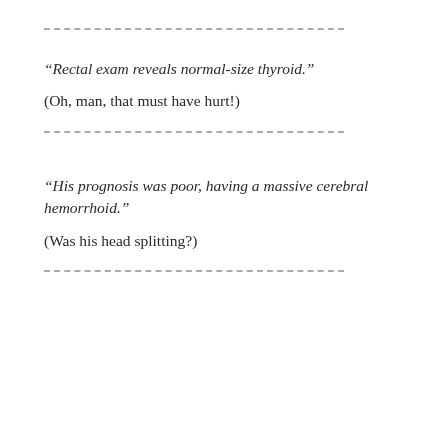- - - - - - - - - - - - - - - - - - - - - - - - - - -
“Rectal exam reveals normal-size thyroid.”
(Oh, man, that must have hurt!)
- - - - - - - - - - - - - - - - - - - - - - - - - - -
“His prognosis was poor, having a massive cerebral hemorrhoid.”
(Was his head splitting?)
- - - - - - - - - - - - - - - - - - - - - - - - - - -